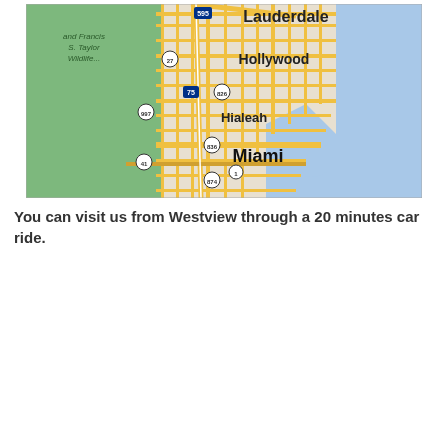[Figure (map): Google Maps view of the Miami, Florida area showing Lauderdale, Hollywood, Hialeah, and Miami with roads (I-595, I-75, US-27, SR-826, SR-836, SR-874, SR-997, US-41, US-1) in yellow against a street grid. Green areas on the left represent Everglades/wildlife areas. Blue on the right represents the Atlantic Ocean/Biscayne Bay.]
You can visit us from Westview through a 20 minutes car ride.